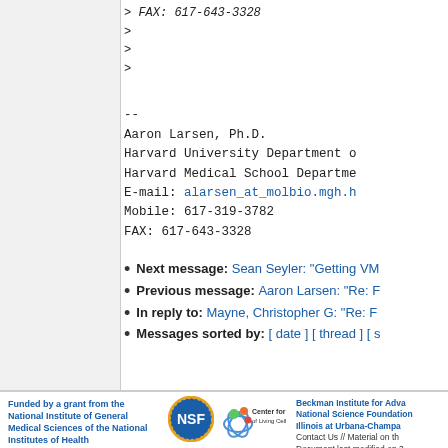> FAX: 617-643-3328
>
>
>
--
Aaron Larsen, Ph.D.
Harvard University Department o
Harvard Medical School Departme
E-mail: alarsen_at_molbio.mgh.h
Mobile: 617-319-3782
FAX: 617-643-3328
Next message: Sean Seyler: "Getting VM
Previous message: Aaron Larsen: "Re: F
In reply to: Mayne, Christopher G: "Re: F
Messages sorted by: [ date ] [ thread ] [ s
Funded by a grant from the National Institute of General Medical Sciences of the National Institutes of Health
Beckman Institute for Adva National Science Foundation Illinois at Urbana-Champa
Contact Us // Material on th Document last modified on 3